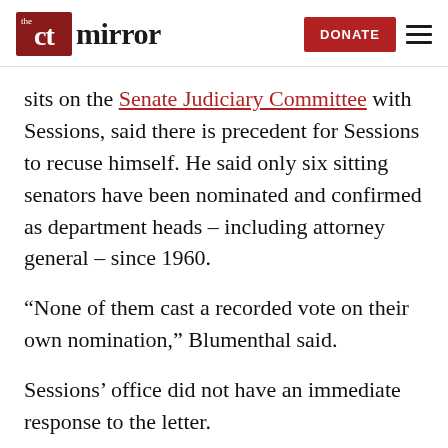the ct mirror | DONATE
sits on the Senate Judiciary Committee with Sessions, said there is precedent for Sessions to recuse himself. He said only six sitting senators have been nominated and confirmed as department heads – including attorney general – since 1960.
“None of them cast a recorded vote on their own nomination,” Blumenthal said.
Sessions’ office did not have an immediate response to the letter.